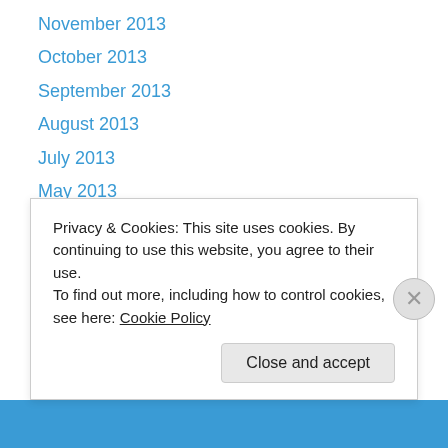November 2013
October 2013
September 2013
August 2013
July 2013
May 2013
April 2013
March 2013
February 2013
January 2013
December 2012
November 2012
October 2012
Privacy & Cookies: This site uses cookies. By continuing to use this website, you agree to their use. To find out more, including how to control cookies, see here: Cookie Policy